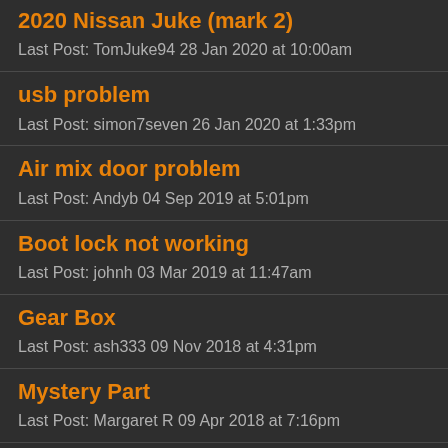2020 Nissan Juke (mark 2)
Last Post: TomJuke94 28 Jan 2020 at 10:00am
usb problem
Last Post: simon7seven 26 Jan 2020 at 1:33pm
Air mix door problem
Last Post: Andyb 04 Sep 2019 at 5:01pm
Boot lock not working
Last Post: johnh 03 Mar 2019 at 11:47am
Gear Box
Last Post: ash333 09 Nov 2018 at 4:31pm
Mystery Part
Last Post: Margaret R 09 Apr 2018 at 7:16pm